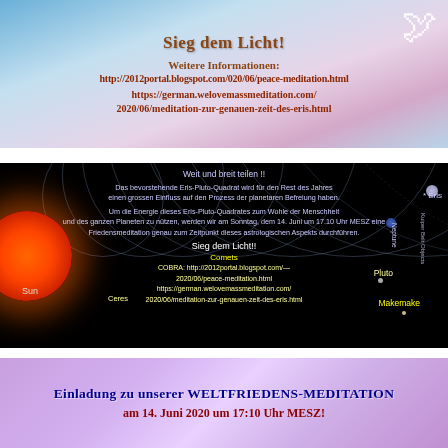[Figure (illustration): Banner image with sky/clouds background featuring a white dove. Contains German text: 'Sieg dem Licht!' and URLs for further information about peace meditation.]
[Figure (illustration): Solar system diagram on black background showing Sun, planets (Mercury, Venus, Earth, Mars, Asteroid Belt, Jupiter, Saturn, Uranus, Neptune) and outer solar system objects (Pluto, Makemake, Eris, Ceres, Comets, Kuiper Belt Objects). Overlaid with German text about the Eris-Pluto-Quadrat and peace meditation on June 14, 2020 at 17:10 MESZ.]
[Figure (illustration): Pink/purple banner with German invitation text: 'Einladung zu unserer WELTFRIEDENS-MEDITATION am 14. Juni 2020 um 17:10 Uhr MESZ!']